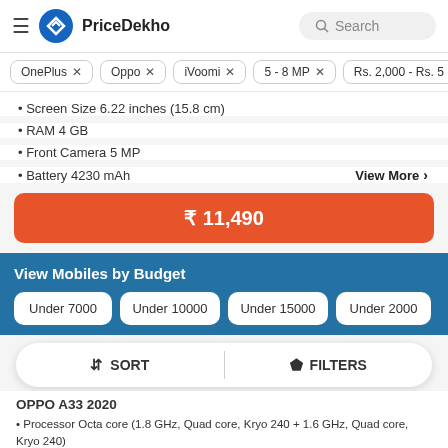PriceDekho — Search
OnePlus X
Oppo X
iVoomi X
5 - 8 MP X
Rs. 2,000 - Rs. 5...
Screen Size 6.22 inches (15.8 cm)
RAM 4 GB
Front Camera 5 MP
Battery 4230 mAh
View More >
₹ 11,490
View Mobiles by Budget
Under 7000
Under 10000
Under 15000
Under 20000
↕ SORT   |   ⊿ FILTERS
OPPO A33 2020
• Processor Octa core (1.8 GHz, Quad core, Kryo 240 + 1.6 GHz, Quad core, Kryo 240)